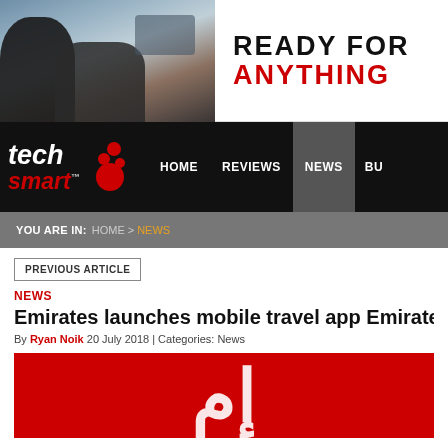[Figure (photo): Advertisement banner showing a man with a camera outdoors with text READY FOR ANYTHING]
[Figure (logo): TechSmart logo with navigation bar showing HOME, REVIEWS, NEWS, BU...]
YOU ARE IN: HOME > NEWS
PREVIOUS ARTICLE
NEWS
Emirates launches mobile travel app Emirates
By Ryan Noik 20 July 2018 | Categories: News
[Figure (photo): Red background with white Arabic/decorative script text - Emirates app promotional image]